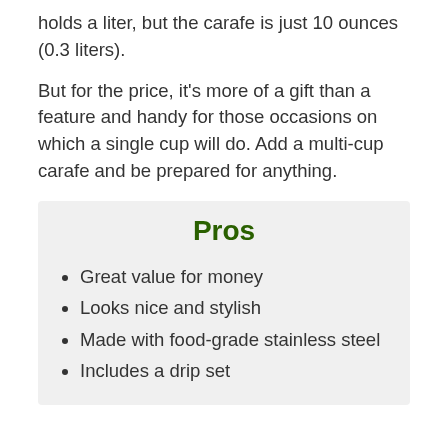holds a liter, but the carafe is just 10 ounces (0.3 liters).
But for the price, it's more of a gift than a feature and handy for those occasions on which a single cup will do. Add a multi-cup carafe and be prepared for anything.
Pros
Great value for money
Looks nice and stylish
Made with food-grade stainless steel
Includes a drip set